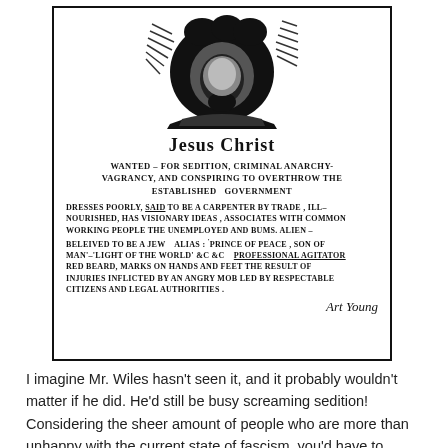[Figure (illustration): Vintage 'Wanted' poster illustration featuring a portrait of Jesus Christ at the top, with text describing charges of sedition, criminal anarchy, vagrancy, and conspiring to overthrow the established government. Signed 'Art Young' at the bottom right.]
I imagine Mr. Wiles hasn’t seen it, and it probably wouldn’t matter if he did. He’d still be busy screaming sedition! Considering the sheer amount of people who are more than unhappy with the current state of fascism, you’d have to arrest well over half of all people living in the States. That would certainly be an interesting development.